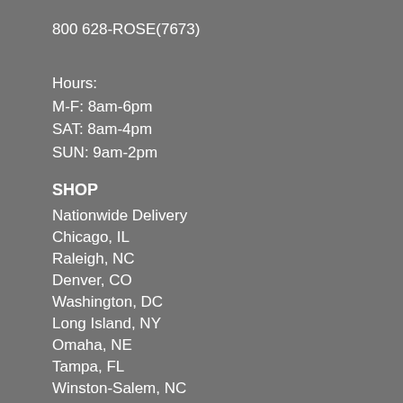800 628-ROSE(7673)
Hours:
M-F: 8am-6pm
SAT: 8am-4pm
SUN: 9am-2pm
SHOP
Nationwide Delivery
Chicago, IL
Raleigh, NC
Denver, CO
Washington, DC
Long Island, NY
Omaha, NE
Tampa, FL
Winston-Salem, NC
Augusta, GA
Newport News, VA
Manchester, NH
Fort Myers & Naples, FL
Scranton, PA